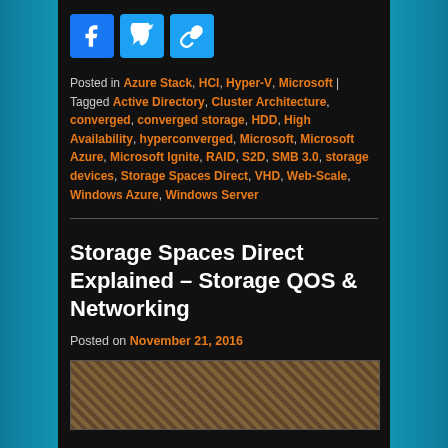[Figure (other): Social share icons: Facebook, Twitter, Link]
Posted in Azure Stack, HCI, Hyper-V, Microsoft | Tagged Active Directory, Cluster Architecture, converged, converged storage, HDD, High Availability, hyperconverged, Microsoft, Microsoft Azure, Microsoft Ignite, RAID, S2D, SMB 3.0, storage devices, Storage Spaces Direct, VHD, Web-Scale, Windows Azure, Windows Server
Storage Spaces Direct Explained – Storage QOS & Networking
Posted on November 21, 2016
[Figure (photo): Thumbnail photo showing a tangle of network cables]